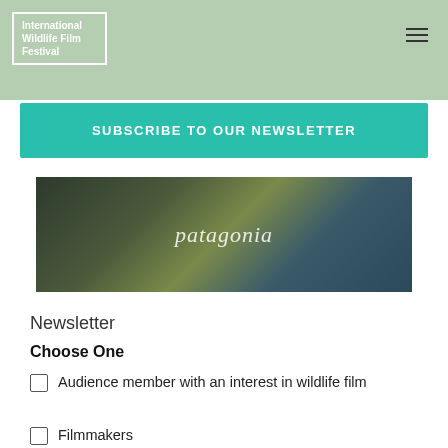International Wildlife Film Festival
SUBSCRIBE TO OUR NEWSLETTER
[Figure (photo): Patagonia branded image showing person wearing Patagonia jacket with wildlife/nature elements]
Newsletter
Choose One
Audience member with an interest in wildlife film
Filmmakers